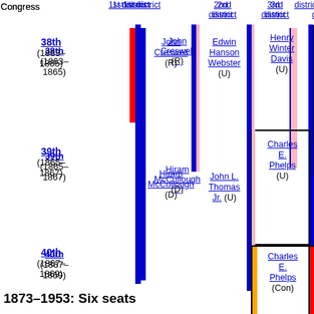Congress 1st district 2nd district 3rd district 4th district 5th district
| Congress | 1st district | 2nd district | 3rd district | 4th district | 5th district |
| --- | --- | --- | --- | --- | --- |
| 38th (1863–1865) | John Creswell (R) | Edwin Hanson Webster (U) | Henry Winter Davis (U) | Francis Thomas (U) | Benjamin Gwin Harris (D) |
| 39th (1865–1867) | Hiram McCullough (D) | John L. Thomas Jr. (U) | Charles E. Phelps (U) | Francis Thomas (U) | Benjamin Gwin Harris (D) |
| 40th (1867–1869) | Hiram McCullough (D) | John L. Thomas Jr. (U) | Charles E. Phelps (Con) | Francis Thomas (R) | Frederick Stone (?) |
| 41st (1869–1871) | Samuel Hambleton (D) | Stevenson Archer (D) | Thomas Swann (D) | Patrick Hamill (D) | Frederick Stone (?) |
| 42nd (1871–1873) | Samuel Hambleton (D) | Stevenson Archer (D) | Thomas Swann (D) | John Ritchie (D) | William Matthews Merrick (D) |
1873–1953: Six seats